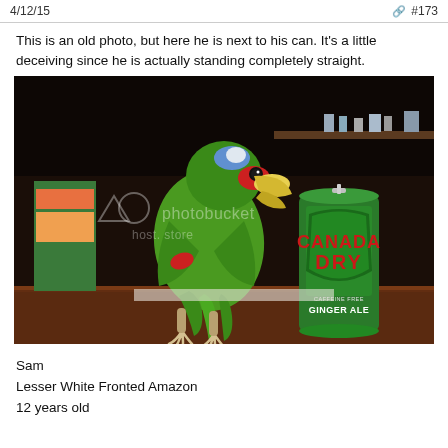4/12/15   #173
This is an old photo, but here he is next to his can. It's a little deceiving since he is actually standing completely straight.
[Figure (photo): A green Amazon parrot (Lesser White Fronted Amazon) standing on a wooden surface next to a green Canada Dry Caffeine Free Ginger Ale can. The photo has a Photobucket watermark overlay. The background shows shelves with various items in a dimly lit room.]
Sam
Lesser White Fronted Amazon
12 years old